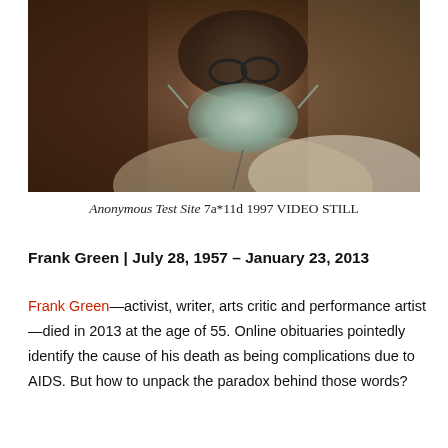[Figure (photo): Video still of a person wearing a surgical/protective mask and glasses, photographed in a dimly lit setting. The image is credited as Anonymous Test Site 7a*11d 1997 VIDEO STILL.]
Anonymous Test Site 7a*11d 1997 VIDEO STILL
Frank Green | July 28, 1957 – January 23, 2013
Frank Green—activist, writer, arts critic and performance artist—died in 2013 at the age of 55. Online obituaries pointedly identify the cause of his death as being complications due to AIDS. But how to unpack the paradox behind those words?